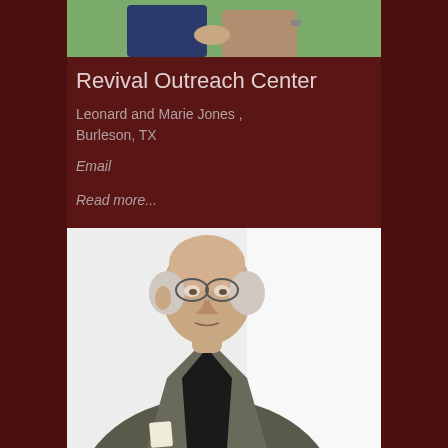[Figure (photo): Top portion of two people standing, torsos visible, outdoors with green background]
Revival Outreach Center
Leonard and Marie Jones ,
Burleson, TX
Email
Read more...
[Figure (photo): Elderly man wearing a dark jacket and black shirt, photographed against a white background, looking slightly downward]